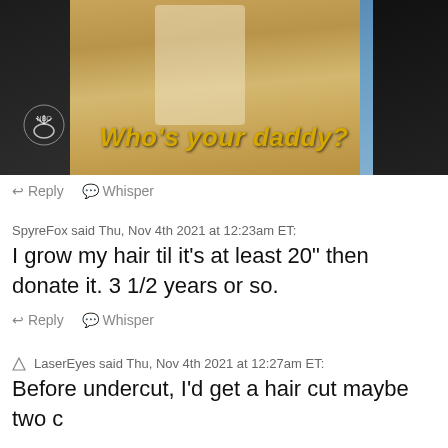[Figure (screenshot): Screenshot of a TV show still with a person in colonial/historical costume (tan jacket with gold buttons, white lace vest) in front of a blue background with NBC logo visible. Yellow italic bold subtitle text reads 'Who's your daddy?']
Reply   Whisper
SpyreFox said Thu, Nov 4th 2021 at 12:23am ET:
I grow my hair til it's at least 20" then donate it. 3 1/2 years or so.
Reply   Whisper
LaserEyes said Thu, Nov 4th 2021 at 12:27am ET:
Before undercut, I'd get a hair cut maybe two c